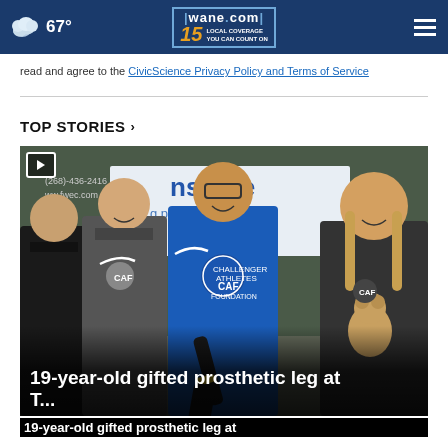67° | wane.com 15 LOCAL COVERAGE YOU CAN COUNT ON
read and agree to the CivicScience Privacy Policy and Terms of Service
TOP STORIES ›
[Figure (photo): Group of people smiling indoors, one person holding a prosthetic leg and another holding a stuffed animal. Banners visible in background including 'stone possibilities' and CAF (Challenger Athletes Foundation) logos visible on shirts.]
19-year-old gifted prosthetic leg at